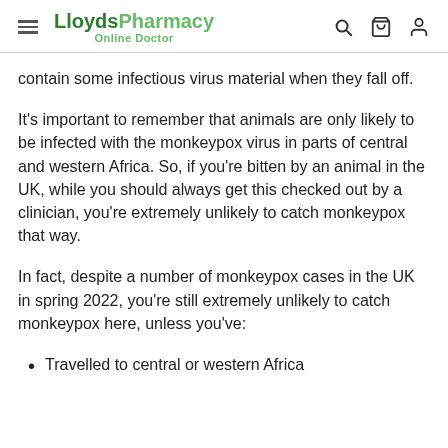LloydsPharmacy Online Doctor
contain some infectious virus material when they fall off.
It's important to remember that animals are only likely to be infected with the monkeypox virus in parts of central and western Africa. So, if you're bitten by an animal in the UK, while you should always get this checked out by a clinician, you're extremely unlikely to catch monkeypox that way.
In fact, despite a number of monkeypox cases in the UK in spring 2022, you're still extremely unlikely to catch monkeypox here, unless you've:
Travelled to central or western Africa